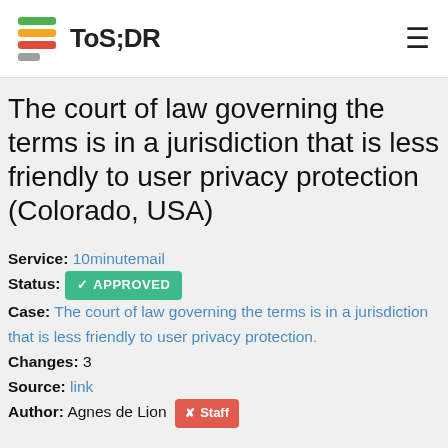ToS;DR
The court of law governing the terms is in a jurisdiction that is less friendly to user privacy protection (Colorado, USA)
Service: 10minutemail
Status: APPROVED
Case: The court of law governing the terms is in a jurisdiction that is less friendly to user privacy protection.
Changes: 3
Source: link
Author: Agnes de Lion  Staff